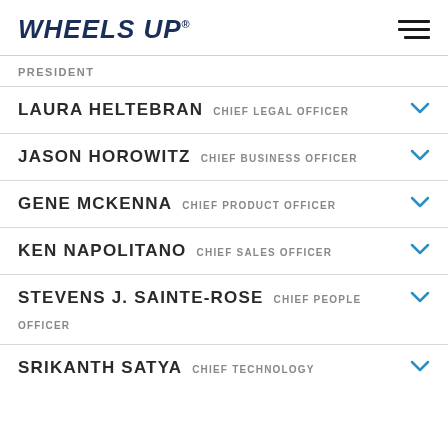WHEELS UP
PRESIDENT
LAURA HELTEBRAN  CHIEF LEGAL OFFICER
JASON HOROWITZ  CHIEF BUSINESS OFFICER
GENE MCKENNA  CHIEF PRODUCT OFFICER
KEN NAPOLITANO  CHIEF SALES OFFICER
STEVENS J. SAINTE-ROSE  CHIEF PEOPLE OFFICER
SRIKANTH SATYA  CHIEF TECHNOLOGY